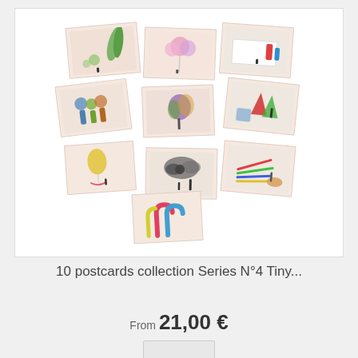[Figure (photo): A collection of 10 artistic postcards arranged in a scattered layout, each featuring miniature human figures interacting with oversized everyday objects such as plants, candy, stones, and colorful shapes on pale pinkish-beige backgrounds.]
10 postcards collection Series N°4 Tiny...
From 21,00 €